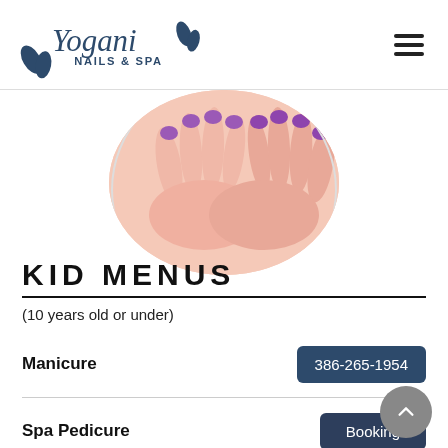Yogani Nails & Spa
[Figure (photo): Circular photo of hands with purple-painted nails resting on a light pink background]
KID MENUS
(10 years old or under)
Manicure — button: 386-265-1954
Spa Pedicure — button: Booking
Mani & Pedi Combo — $32